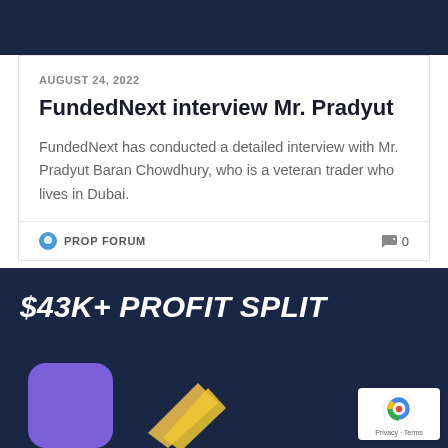[Figure (other): Dark navy blue header bar]
AUGUST 24, 2022
FundedNext interview Mr. Pradyut
FundedNext has conducted a detailed interview with Mr. Pradyut Baran Chowdhury, who is a veteran trader who lives in Dubai.
PROP FORUM  0
[Figure (infographic): $43K+ PROFIT SPLIT banner with purple app icon and gold ticket graphics on dark navy background, with reCAPTCHA badge in bottom right]